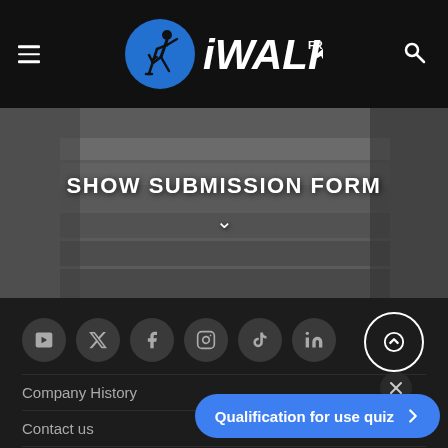[Figure (logo): iWALKfree logo: blue circle with stick figure using crutch, white text iWALK with FREE superscript]
SHOW SUBMISSION FORM
[Figure (photo): Grayscale image of outdoor stairs/steps with railing]
Company History
Contact us
FAQ
Dealer Locator
Qualification for use quiz